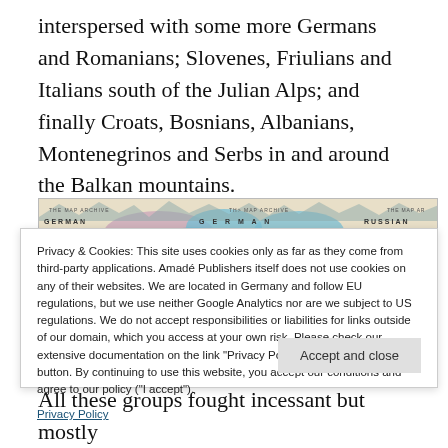interspersed with some more Germans and Romanians; Slovenes, Friulians and Italians south of the Julian Alps; and finally Croats, Bosnians, Albanians, Montenegrinos and Serbs in and around the Balkan mountains.
[Figure (map): Partial view of a historical ethnic/linguistic map of Central and Eastern Europe, showing labels GERMAN and RUSSIAN, produced by The Map Archive. Colored regions in pink, blue, and tan.]
Privacy & Cookies: This site uses cookies only as far as they come from third-party applications. Amadé Publishers itself does not use cookies on any of their websites. We are located in Germany and follow EU regulations, but we use neither Google Analytics nor are we subject to US regulations. We do not accept responsibilities or liabilities for links outside of our domain, which you access at your own risk. Please check our extensive documentation on the link "Privacy Policy" below the "Home" button. By continuing to use this website, you accept our conditions and agree to our policy ("I accept").
Privacy Policy
Accept and close
All these groups fought incessant but mostly